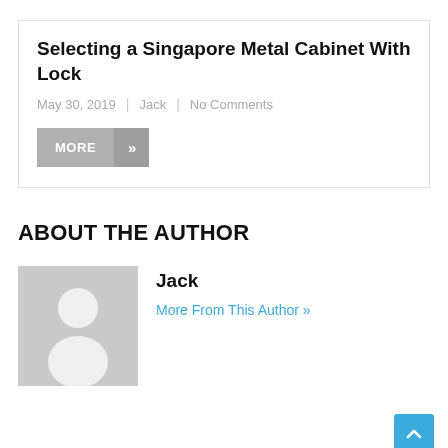Selecting a Singapore Metal Cabinet With Lock
May 30, 2019 | Jack | No Comments
MORE »
ABOUT THE AUTHOR
[Figure (illustration): Gray placeholder avatar icon of a person silhouette]
Jack
More From This Author »